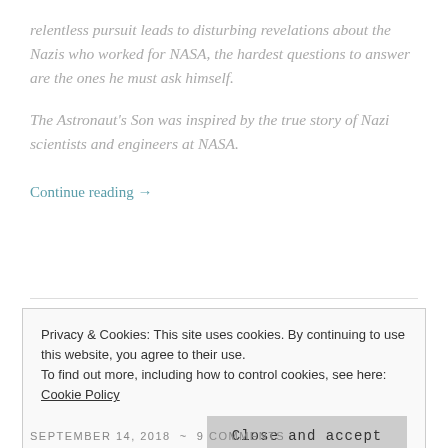relentless pursuit leads to disturbing revelations about the Nazis who worked for NASA, the hardest questions to answer are the ones he must ask himself.
The Astronaut's Son was inspired by the true story of Nazi scientists and engineers at NASA.
Continue reading →
Privacy & Cookies: This site uses cookies. By continuing to use this website, you agree to their use.
To find out more, including how to control cookies, see here: Cookie Policy
Close and accept
SEPTEMBER 14, 2018  ~  9 COMMENTS